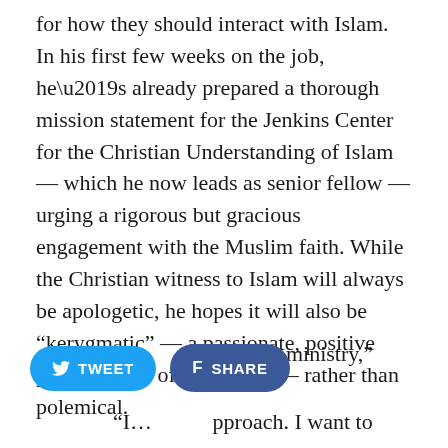for how they should interact with Islam. In his first few weeks on the job, he’s already prepared a thorough mission statement for the Jenkins Center for the Christian Understanding of Islam — which he now leads as senior fellow — urging a rigorous but gracious engagement with the Muslim faith. While the Christian witness to Islam will always be apologetic, he hopes it will also be “kerygmatic” — a passionate, positive proclamation of the gospel — rather than polemical.
“There are many people who follow the polemic. [They] find that helpful in their ministry,” [he said]. “I… approach. I want to